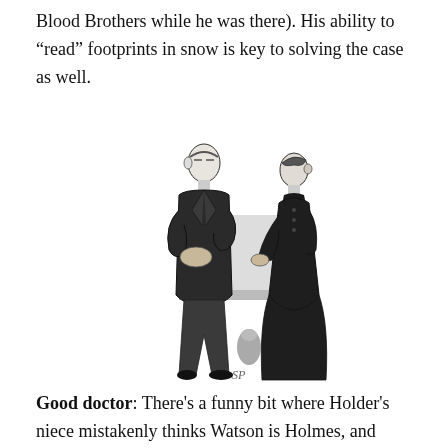Blood Brothers while he was there). His ability to “read” footprints in snow is key to solving the case as well.
[Figure (illustration): A vintage black-and-white pen illustration of two Victorian-era figures: a tall man in a dark frock coat with clasped hands facing a woman in a long dark Victorian dress, standing near a table. Artist initials 'SP' visible at the bottom.]
Good doctor: There’s a funny bit where Holder’s niece mistakenly thinks Watson is Holmes, and Watson has to